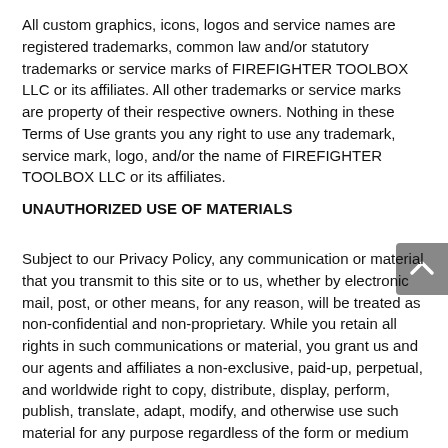All custom graphics, icons, logos and service names are registered trademarks, common law and/or statutory trademarks or service marks of FIREFIGHTER TOOLBOX LLC or its affiliates. All other trademarks or service marks are property of their respective owners. Nothing in these Terms of Use grants you any right to use any trademark, service mark, logo, and/or the name of FIREFIGHTER TOOLBOX LLC or its affiliates.
UNAUTHORIZED USE OF MATERIALS
Subject to our Privacy Policy, any communication or material that you transmit to this site or to us, whether by electronic mail, post, or other means, for any reason, will be treated as non-confidential and non-proprietary. While you retain all rights in such communications or material, you grant us and our agents and affiliates a non-exclusive, paid-up, perpetual, and worldwide right to copy, distribute, display, perform, publish, translate, adapt, modify, and otherwise use such material for any purpose regardless of the form or medium (now known or not currently known) in which it is used.
Please do not submit confidential or proprietary information to